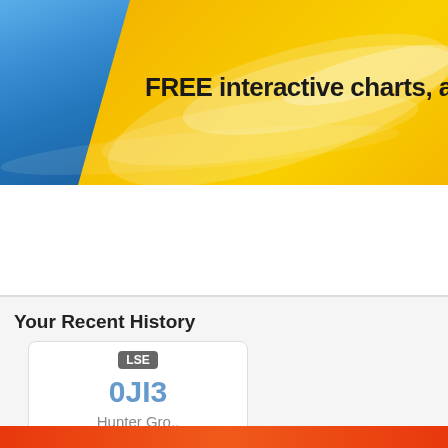[Figure (illustration): ADVFN banner with blue diagonal shape on left, golden/yellow gradient background with white wave effects, and bold text reading 'FREE interactive charts, analy']
Your Recent History
[Figure (infographic): Stock card showing LSE exchange badge, ticker symbol 0JI3, and company name Hunter Gro..]
Register now to watch these stocks streaming on the ADVFN
Monitor lets you view up to 110 of your favourite stocks at once